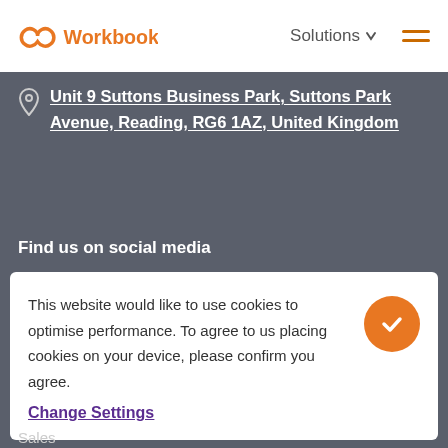Workbooks | Solutions
Unit 9 Suttons Business Park, Suttons Park Avenue, Reading, RG6 1AZ, United Kingdom
Find us on social media
This website would like to use cookies to optimise performance. To agree to us placing cookies on your device, please confirm you agree.
Change Settings
Sales